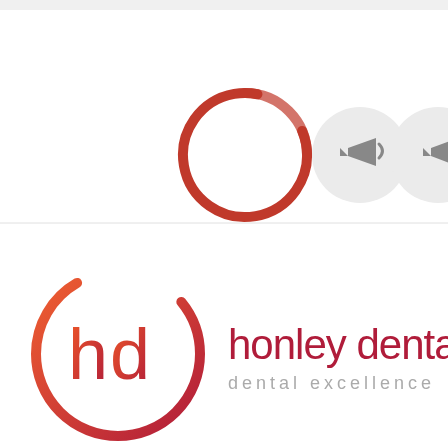[Figure (screenshot): Top section of a mobile app UI showing a loading spinner ring in dark red/crimson gradient colors, and two gray circular buttons with megaphone/speaker icons]
[Figure (logo): Honley Dental logo featuring 'hd' letters inside a circle with gradient from orange-red to dark red/crimson, with text 'honley dental' in dark red and 'dental excellence' in gray below]